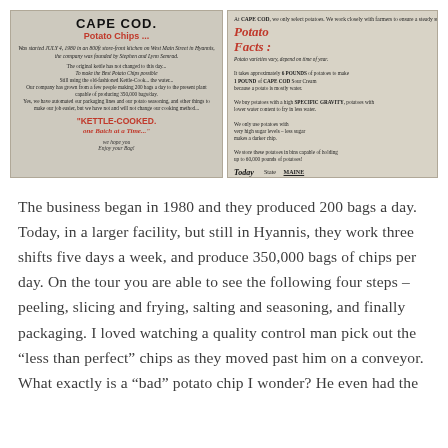[Figure (photo): Two photographs of Cape Cod Potato Chips signage. Left sign shows the Cape Cod Potato Chips brand name, history text, and 'KETTLE-COOKED one Batch at a Time...' slogan with a lighthouse illustration. Right sign shows 'Potato Facts' with information about potato selection by season and region, and a 'Today on our vine' section showing State: MAINE, Variety: LAMOKA, Specific Gravity: 1.096.]
The business began in 1980 and they produced 200 bags a day. Today, in a larger facility, but still in Hyannis, they work three shifts five days a week, and produce 350,000 bags of chips per day. On the tour you are able to see the following four steps – peeling, slicing and frying, salting and seasoning, and finally packaging. I loved watching a quality control man pick out the "less than perfect" chips as they moved past him on a conveyor. What exactly is a "bad" potato chip I wonder? He even had the